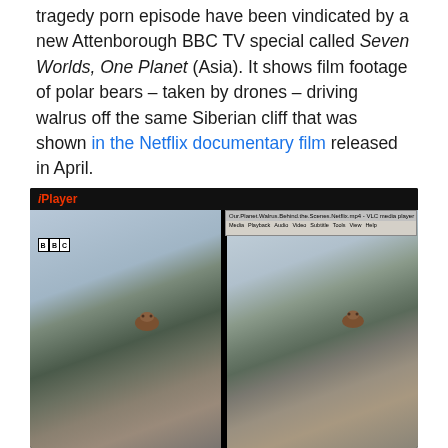tragedy porn episode have been vindicated by a new Attenborough BBC TV special called Seven Worlds, One Planet (Asia). It shows film footage of polar bears – taken by drones – driving walrus off the same Siberian cliff that was shown in the Netflix documentary film released in April.
[Figure (screenshot): Side-by-side comparison screenshot showing BBC iPlayer on the left and a VLC media player window on the right, both showing the same Siberian cliff face with a walrus/bear on the rock.]